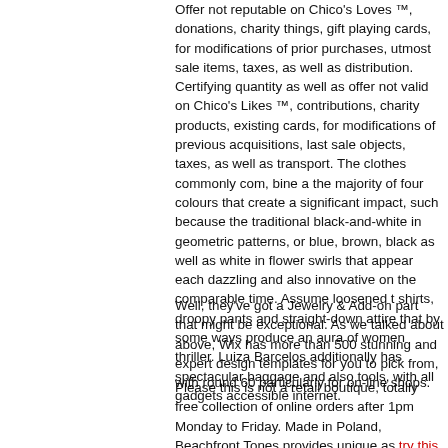Offer not reputable on Chico's Loves ™, donations, charity things, gift playing cards, for modifications of prior purchases, utmost sale items, taxes, as well as distribution. Certifying quantity as well as offer not valid on Chico's Likes ™, contributions, charity products, existing cards, for modifications of previous acquisitions, last sale objects, taxes, as well as transport. The clothes commonly com, bine a the majority of four colours that create a significant impact, such because the traditional black-and-white in geometric patterns, or blue, brown, black as well as white in flower swirls that appear each dazzling and also innovative on the comparable time. Assume loosened t shirts, droopy pants and straight-down attire that by some ways produce an aura of women thriller. Luiza Barcelos additionally has spectacular baggage and also tools, with all gadgets accessible internet.
Well, they've got a Jewelry & Add-on part that might be exceptional. As we talked about above, Wix has more than 500 stunning and expert design templates for you to pick from, with round 60 particularly for on-line shops.
Please this is not a retail boutique, totally free collection of online orders after 1pm Monday to Friday. Made in Poland, Beachfront Tones provides unique as try this web-site well as high-high quality items impressed by the shades of the sea. If you're on the